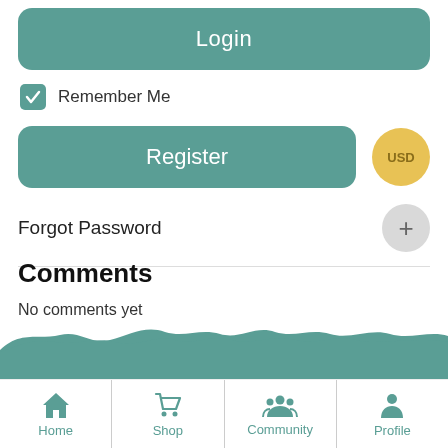Login
Remember Me
Register
USD
Forgot Password
Comments
No comments yet
Home | Shop | Community | Profile